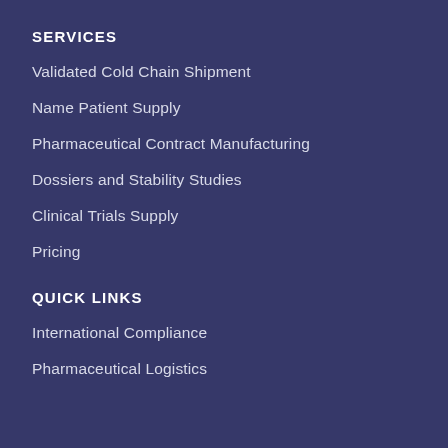SERVICES
Validated Cold Chain Shipment
Name Patient Supply
Pharmaceutical Contract Manufacturing
Dossiers and Stability Studies
Clinical Trials Supply
Pricing
QUICK LINKS
International Compliance
Pharmaceutical Logistics